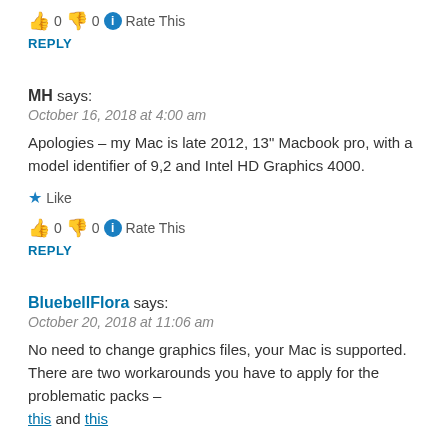👍 0 👎 0 ℹ Rate This
REPLY
MH says:
October 16, 2018 at 4:00 am
Apologies – my Mac is late 2012, 13" Macbook pro, with a model identifier of 9,2 and Intel HD Graphics 4000.
★ Like
👍 0 👎 0 ℹ Rate This
REPLY
BluebellFlora says:
October 20, 2018 at 11:06 am
No need to change graphics files, your Mac is supported. There are two workarounds you have to apply for the problematic packs – this and this